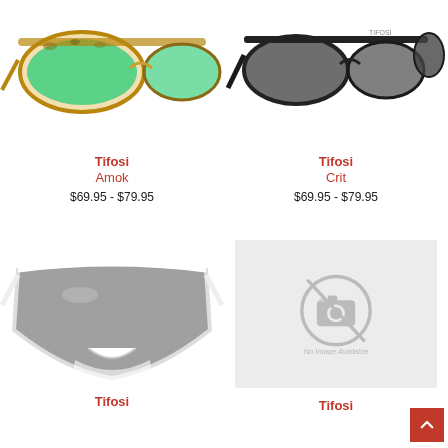[Figure (photo): Tifosi Amok sunglasses with camouflage frame and green mirrored lenses, top-left product]
Tifosi
Amok
$69.95 - $79.95
[Figure (photo): Tifosi Crit sunglasses with black frame and gray lenses, top-right product]
Tifosi
Crit
$69.95 - $79.95
[Figure (photo): Tifosi sunglasses with white frame and wide gray lens shield, bottom-left product]
Tifosi
[Figure (photo): No Image Available placeholder with camera icon, bottom-right product]
Tifosi